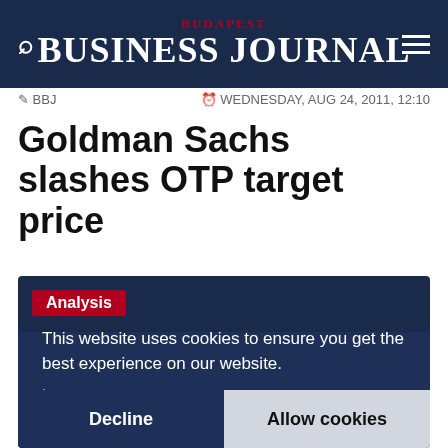BUDAPEST BUSINESS JOURNAL
BBJ   WEDNESDAY, AUG 24, 2011, 12:10
Goldman Sachs slashes OTP target price
[Figure (screenshot): Dark navy card area with 'Analysis' red label tag, a cookie consent banner overlay reading 'This website uses cookies to ensure you get the best experience on our website. Learn more' with Decline and Allow cookies buttons, and a faint Budapest Business Journal watermark at the bottom.]